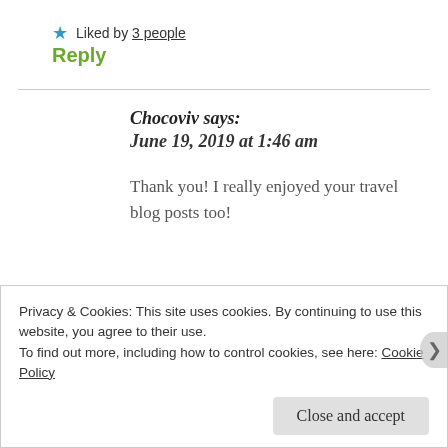★ Liked by 3 people
Reply
Chocoviv says: June 19, 2019 at 1:46 am
Thank you! I really enjoyed your travel blog posts too!
Privacy & Cookies: This site uses cookies. By continuing to use this website, you agree to their use.
To find out more, including how to control cookies, see here: Cookie Policy
Close and accept